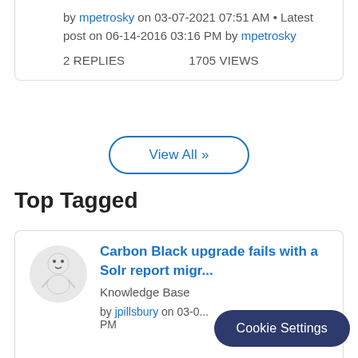by mpetrosky on 03-07-2021 07:51 AM • Latest post on 06-14-2016 03:16 PM by mpetrosky
2 REPLIES   1705 VIEWS
View All »
Top Tagged
Carbon Black upgrade fails with a Solr report migr...
Knowledge Base
by jpillsbury on 03-0... PM
Cookie Settings